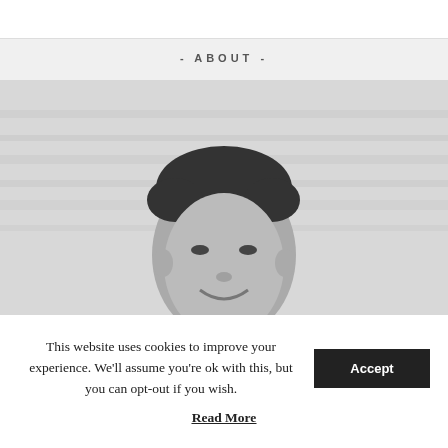- ABOUT -
[Figure (photo): Black and white portrait photo of a young man smiling, with textured white wall background]
This website uses cookies to improve your experience. We'll assume you're ok with this, but you can opt-out if you wish.
Read More